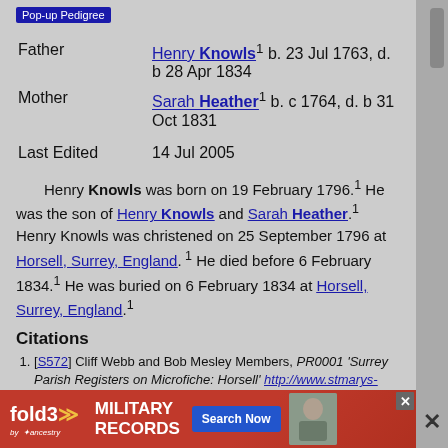Pop-up Pedigree
Father  Henry Knowls¹ b. 23 Jul 1763, d. b 28 Apr 1834
Mother  Sarah Heather¹ b. c 1764, d. b 31 Oct 1831
Last Edited  14 Jul 2005
Henry Knowls was born on 19 February 1796.¹ He was the son of Henry Knowls and Sarah Heather.¹ Henry Knowls was christened on 25 September 1796 at Horsell, Surrey, England.¹ He died before 6 February 1834.¹ He was buried on 6 February 1834 at Horsell, Surrey, England.¹
Citations
[S572] Cliff Webb and Bob Mesley Members, PR0001 'Surrey Parish Registers on Microfiche: Horsell' http://www.stmarys-horsell.org.uk/HTML/HistoryFr1.htm and Photograph © David J Hall (n.p.: West Surrey Family History Society, Received 26 Ma...